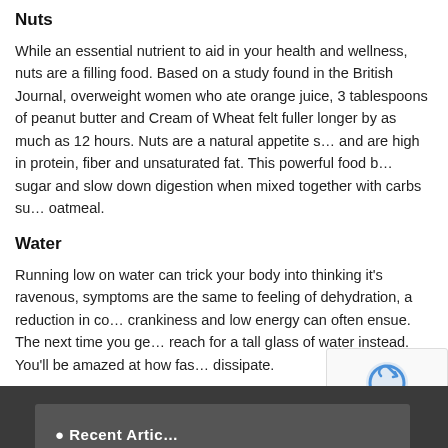Nuts
While an essential nutrient to aid in your health and wellness, nuts are a filling food. Based on a study found in the British Journal, overweight women who ate orange juice, 3 tablespoons of peanut butter and Cream of Wheat felt fuller longer by as much as 12 hours. Nuts are a natural appetite suppressant and are high in protein, fiber and unsaturated fat. This powerful food blend can control sugar and slow down digestion when mixed together with carbs such as oatmeal.
Water
Running low on water can trick your body into thinking it's ravenous, as the symptoms are the same to feeling of dehydration, a reduction in concentration, crankiness and low energy can often ensue. The next time you get hungry, reach for a tall glass of water instead. You'll be amazed at how fast the cravings dissipate.
Filed Under: News
Health Library Archives
Recent Articles